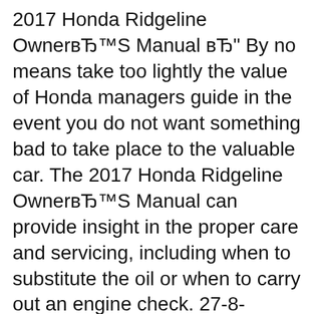2017 Honda Ridgeline OwnerвЂ™S Manual вЂ" By no means take too lightly the value of Honda managers guide in the event you do not want something bad to take place to the valuable car. The 2017 Honda Ridgeline OwnerвЂ™S Manual can provide insight in the proper care and servicing, including when to substitute the oil or when to carry out an engine check. 27-8-2016В В· It took honda 5 attempts to fix the door gap on my new 2017 ridgeline and it's still not right but it's acceptable. Honda Ridgeline 2017 Honda Ridgeline RTL-E Review - Duration:
Download 2017 Honda Ridgeline Fender